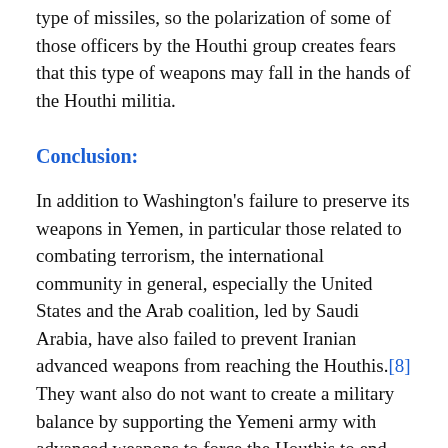type of missiles, so the polarization of some of those officers by the Houthi group creates fears that this type of weapons may fall in the hands of the Houthi militia.
Conclusion:
In addition to Washington's failure to preserve its weapons in Yemen, in particular those related to combating terrorism, the international community in general, especially the United States and the Arab coalition, led by Saudi Arabia, have also failed to prevent Iranian advanced weapons from reaching the Houthis.[8] They want also do not want to create a military balance by supporting the Yemeni army with advanced weapons to force the Houthis to end the war and start negotiations to achieve a sustainable peace.
How will the US President face these complications in